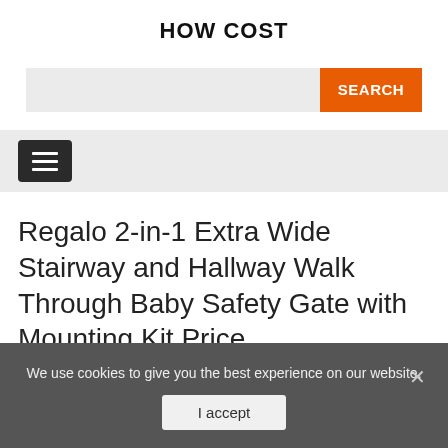HOW COST
SEARCH
Regalo 2-in-1 Extra Wide Stairway and Hallway Walk Through Baby Safety Gate with Mounting Kit Price
We use cookies to give you the best experience on our website.
I accept